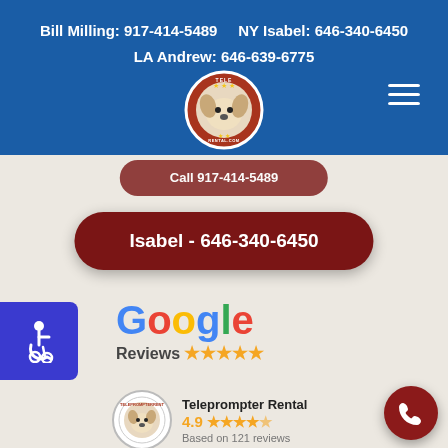Bill Milling: 917-414-5489    NY Isabel: 646-340-6450
LA Andrew: 646-639-6775
[Figure (logo): Teleprompter Rental logo with dog face in circular badge]
Isabel - 646-340-6450
[Figure (logo): Accessibility wheelchair icon on blue square badge]
[Figure (logo): Google Reviews logo with star rating]
Teleprompter Rental
4.9 ★★★★½
Based on 121 reviews